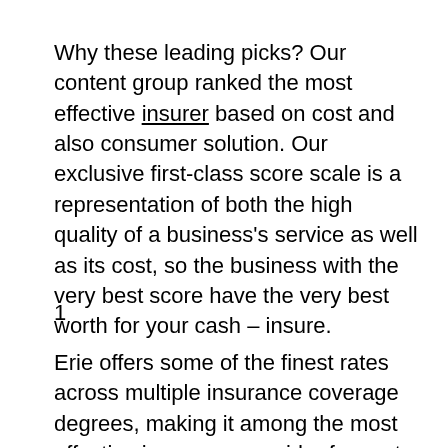Why these leading picks? Our content group ranked the most effective insurer based on cost and also consumer solution. Our exclusive first-class score scale is a representation of both the high quality of a business's service as well as its cost, so the business with the very best score have the very best worth for your cash – insure.
1
Erie offers some of the finest rates across multiple insurance coverage degrees, making it among the most effective insurance provider for cost effective automobile insurance coverage. Minimum protection$503$875Full coverage$1,379$2,208